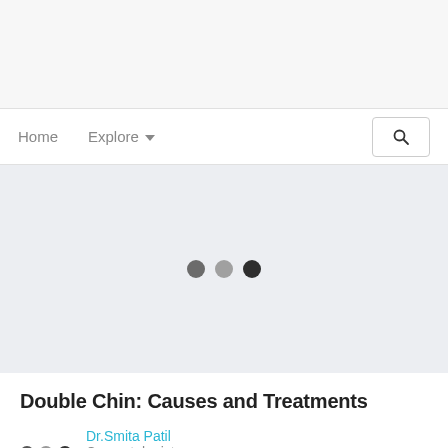[Figure (screenshot): Top gray bar area of a website/app interface]
Home   Explore ▼
[Figure (illustration): Hero image area with light gray/blue background and three loading dots (dark gray, medium gray, dark) indicating an image carousel or loading state]
Double Chin: Causes and Treatments
Dr.Smita Patil
Cosmetologist